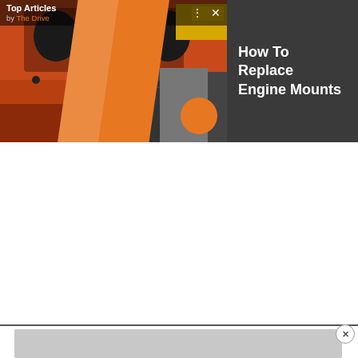[Figure (screenshot): Video widget showing an orange engine block photo with 'Top Articles by The Drive' label, pause and mute icons, a next arrow button, and sidebar title 'How To Replace Engine Mounts' on dark background]
How To Replace Engine Mounts
[Figure (screenshot): Advertisement placeholder: gray rectangular area with close X button]